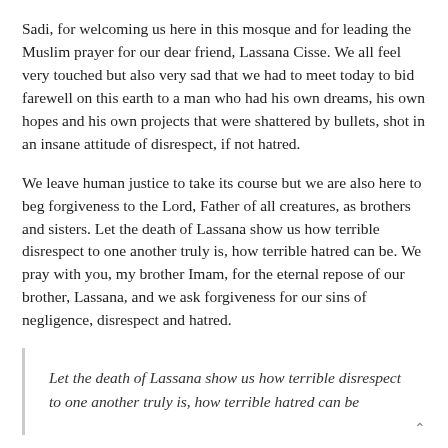Sadi, for welcoming us here in this mosque and for leading the Muslim prayer for our dear friend, Lassana Cisse. We all feel very touched but also very sad that we had to meet today to bid farewell on this earth to a man who had his own dreams, his own hopes and his own projects that were shattered by bullets, shot in an insane attitude of disrespect, if not hatred.
We leave human justice to take its course but we are also here to beg forgiveness to the Lord, Father of all creatures, as brothers and sisters. Let the death of Lassana show us how terrible disrespect to one another truly is, how terrible hatred can be. We pray with you, my brother Imam, for the eternal repose of our brother, Lassana, and we ask forgiveness for our sins of negligence, disrespect and hatred.
Let the death of Lassana show us how terrible disrespect to one another truly is, how terrible hatred can be